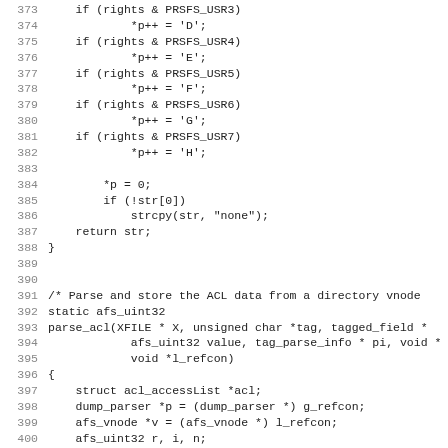Source code listing, lines 373-404+
373     if (rights & PRSFS_USR3)
374             *p++ = 'D';
375     if (rights & PRSFS_USR4)
376             *p++ = 'E';
377     if (rights & PRSFS_USR5)
378             *p++ = 'F';
379     if (rights & PRSFS_USR6)
380             *p++ = 'G';
381     if (rights & PRSFS_USR7)
382             *p++ = 'H';
383 
384         *p = 0;
385         if (!str[0])
386             strcpy(str, "none");
387     return str;
388 }
389 
390 
391 /* Parse and store the ACL data from a directory vnode
392 static afs_uint32
393 parse_acl(XFILE * X, unsigned char *tag, tagged_field *
394             afs_uint32 value, tag_parse_info * pi, void *
395             void *l_refcon)
396 {
397     struct acl_accessList *acl;
398     dump_parser *p = (dump_parser *) g_refcon;
399     afs_vnode *v = (afs_vnode *) l_refcon;
400     afs_uint32 r, i, n;
401 
402     if ((r = xfread(X, v->acl, SIZEOF_LARGEDISKVNODE -
403             return r;
404